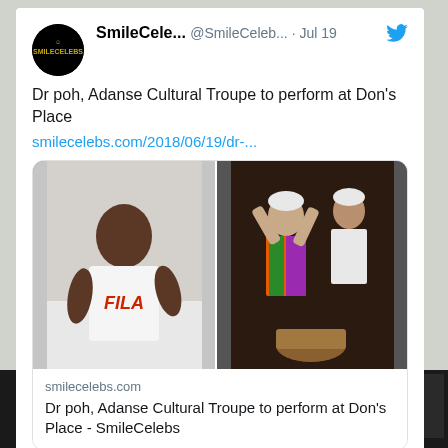[Figure (screenshot): Screenshot of a tweet from SmileCele... (@SmileCeleb...) dated Jul 19, with Twitter bird icon. Tweet text: 'Dr poh, Adanse Cultural Troupe to perform at Don's Place' with link smilecelebs.com/2018/06/19/dr-... A link preview card shows two photos side by side: left photo of a man in a white FILA t-shirt, right photo of African cultural dancers. Below the images: 'smilecelebs.com' and 'Dr poh, Adanse Cultural Troupe to perform at Don's Place - SmileCelebs']